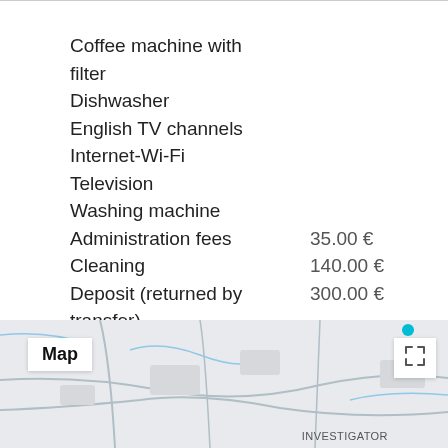Coffee machine with filter
Dishwasher
English TV channels
Internet-Wi-Fi
Television
Washing machine
Administration fees    35.00 €
Cleaning    140.00 €
Deposit (returned by transfer)    300.00 €
[Figure (map): Street map showing neighborhood with 'Map' label overlay and expand button in top corners. 'INVESTIGATOR' text visible at bottom right.]